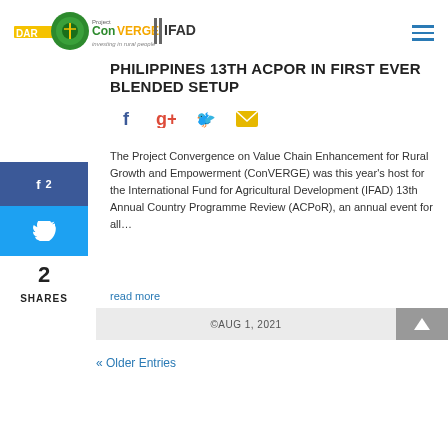[Figure (logo): DAR ConVERGE IFAD - investing in rural people logo]
PHILIPPINES 13TH ACPOR IN FIRST EVER BLENDED SETUP
[Figure (infographic): Social sharing icons: Facebook, Google+, Twitter, Email]
The Project Convergence on Value Chain Enhancement for Rural Growth and Empowerment (ConVERGE) was this year's host for the International Fund for Agricultural Development (IFAD) 13th Annual Country Programme Review (ACPoR), an annual event for all…
read more
f 2 [Facebook share button]
[Twitter share button]
2 SHARES
©AUG 1, 2021
« Older Entries